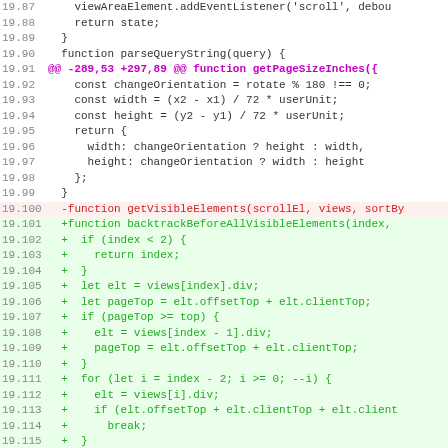[Figure (screenshot): Code diff view showing JavaScript source lines 19.87 through 19.118, with added lines in green, removed lines in red, and diff hunk headers in magenta/purple. Monospace font on white background.]